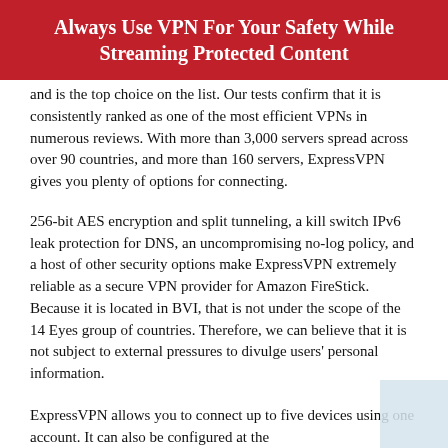Always Use VPN For Your Safety While Streaming Protected Content
and is the top choice on the list. Our tests confirm that it is consistently ranked as one of the most efficient VPNs in numerous reviews. With more than 3,000 servers spread across over 90 countries, and more than 160 servers, ExpressVPN gives you plenty of options for connecting.
256-bit AES encryption and split tunneling, a kill switch IPv6 leak protection for DNS, an uncompromising no-log policy, and a host of other security options make ExpressVPN extremely reliable as a secure VPN provider for Amazon FireStick. Because it is located in BVI, that is not under the scope of the 14 Eyes group of countries. Therefore, we can believe that it is not subject to external pressures to divulge users' personal information.
ExpressVPN allows you to connect up to five devices using one account. It can also be configured at the router level so you can share the device with...